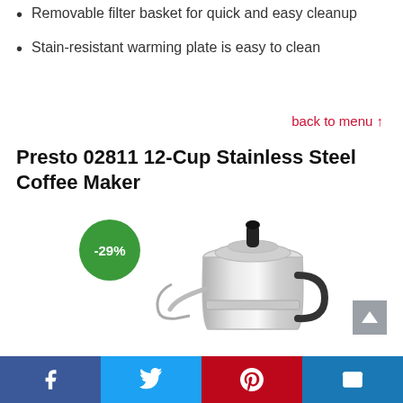Removable filter basket for quick and easy cleanup
Stain-resistant warming plate is easy to clean
back to menu ↑
Presto 02811 12-Cup Stainless Steel Coffee Maker
[Figure (photo): Presto 02811 stainless steel coffee maker percolator with black handle, shown with a green -29% discount badge]
Facebook | Twitter | Pinterest | Email share buttons